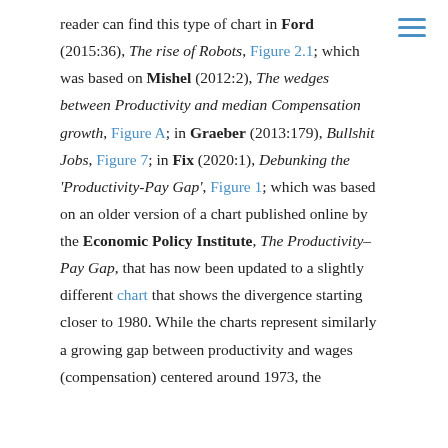reader can find this type of chart in Ford (2015:36), The rise of Robots, Figure 2.1; which was based on Mishel (2012:2), The wedges between Productivity and median Compensation growth, Figure A; in Graeber (2013:179), Bullshit Jobs, Figure 7; in Fix (2020:1), Debunking the 'Productivity-Pay Gap', Figure 1; which was based on an older version of a chart published online by the Economic Policy Institute, The Productivity–Pay Gap, that has now been updated to a slightly different chart that shows the divergence starting closer to 1980. While the charts represent similarly a growing gap between productivity and wages (compensation) centered around 1973, the